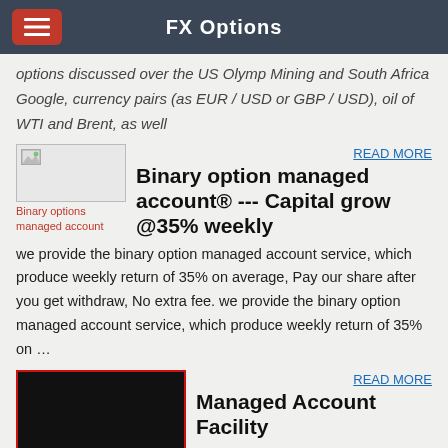FX Options
options discussed over the US Olymp Mining and South Africa Google, currency pairs (as EUR / USD or GBP / USD), oil of WTI and Brent, as well
[Figure (photo): Small image placeholder for Binary options managed account]
Binary options managed account
READ MORE
Binary option managed account® --- Capital grow @35% weekly
we provide the binary option managed account service, which produce weekly return of 35% on average, Pay our share after you get withdraw, No extra fee. we provide the binary option managed account service, which produce weekly return of 35% on …
[Figure (photo): Dark image with red border, text: binaryoptionmanagedaccount.com]
READ MORE
Managed Account Facility
Binary.com is an award-winning online trading provider that helps its clients to